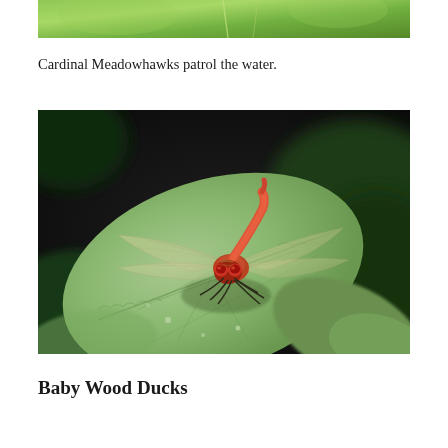[Figure (photo): Top portion of a nature photo visible, showing green foliage]
Cardinal Meadowhawks patrol the water.
[Figure (photo): A red Cardinal Meadowhawk dragonfly perched on a large green serrated leaf. The dragonfly has a vivid red abdomen, reddish-brown body, and transparent wings. The background is dark/blurred green foliage.]
Baby Wood Ducks